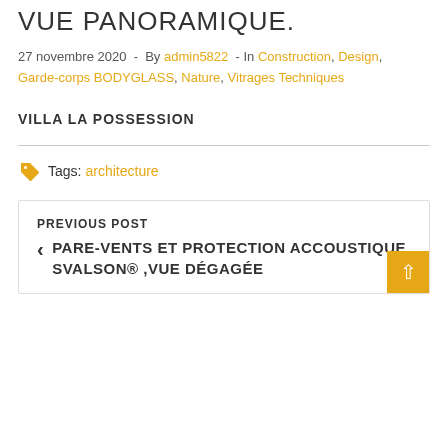VUE PANORAMIQUE.
27 novembre 2020  -  By admin5822  -  In Construction, Design, Garde-corps BODYGLASS, Nature, Vitrages Techniques
VILLA LA POSSESSION
Tags: architecture
PREVIOUS POST
< PARE-VENTS ET PROTECTION ACCOUSTIQUE SVALSON® ,VUE DÉGAGÉE